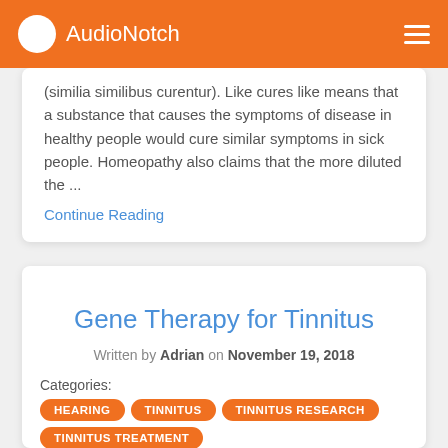AudioNotch
(similia similibus curentur). Like cures like means that a substance that causes the symptoms of disease in healthy people would cure similar symptoms in sick people. Homeopathy also claims that the more diluted the ...
Continue Reading
Gene Therapy for Tinnitus
Written by Adrian on November 19, 2018
Categories: HEARING TINNITUS TINNITUS RESEARCH TINNITUS TREATMENT
Tags: 2019 NEWS ON TINNITUS TINNITUS CURE TINNITUS NEWS